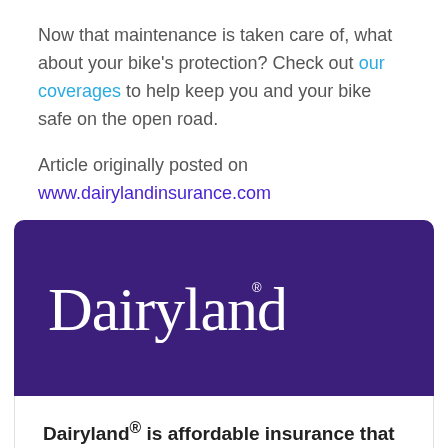Now that maintenance is taken care of, what about your bike's protection? Check out our coverages to help keep you and your bike safe on the open road.
Article originally posted on
www.dairylandinsurance.com
[Figure (logo): Dairyland insurance logo — white cursive 'Dairyland' text with registered trademark symbol on dark purple background]
Dairyland® is affordable insurance that works for you.
No matter what journey you're on, we're all driving down the same road. And we're here to help